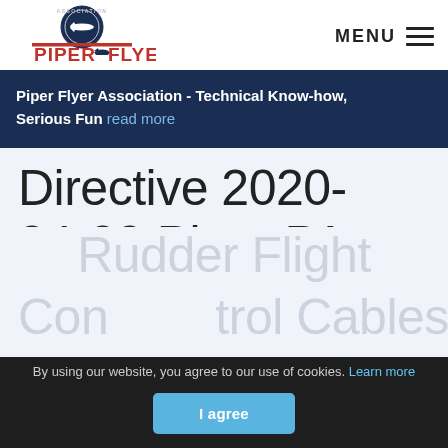[Figure (logo): Piper Flyer Association logo with airplane graphic and circular association seal]
MENU
Piper Flyer Association - Technical Know-how, Serious Fun read more
Directive 2020-24-09 Piper PA-34 220T Rudder Flight Control Cables
In order to provide you with the best online experience this website uses cookies.
By using our website, you agree to our use of cookies. Learn more
I agree